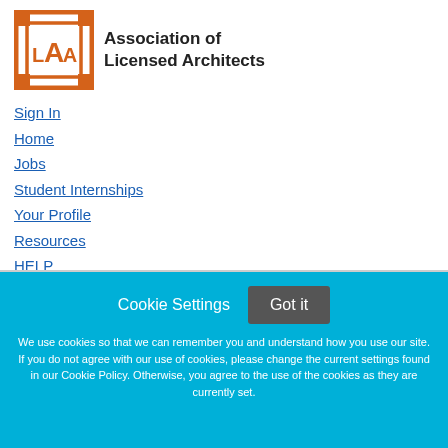[Figure (logo): Association of Licensed Architects logo — orange square geometric ALA emblem with org name text]
Sign In
Home
Jobs
Student Internships
Your Profile
Resources
HELP
Employers Post Jobs
Cookie Settings  Got it
We use cookies so that we can remember you and understand how you use our site. If you do not agree with our use of cookies, please change the current settings found in our Cookie Policy. Otherwise, you agree to the use of the cookies as they are currently set.